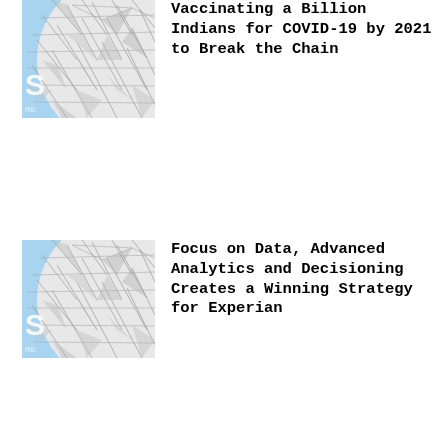[Figure (illustration): Partial view of a geometric dome/sphere structure against a light blue sky, similar to Spaceship Earth at EPCOT. Shown from lower left angle, cropped.]
Vaccinating a Billion Indians for COVID-19 by 2021 to Break the Chain
[Figure (illustration): Same partial view of a geometric dome/sphere structure against a light blue sky. Shown from lower left angle, cropped.]
Focus on Data, Advanced Analytics and Decisioning Creates a Winning Strategy for Experian